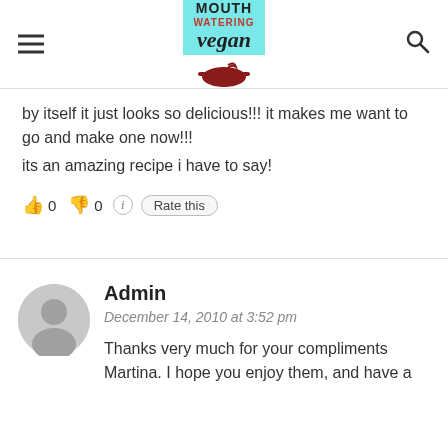Mouth Watering Vegan
by itself it just looks so delicious!!! it makes me want to go and make one now!!! its an amazing recipe i have to say!
👍 0 👎 0 ℹ Rate this
Admin
December 14, 2010 at 3:52 pm
Thanks very much for your compliments Martina. I hope you enjoy them, and have a